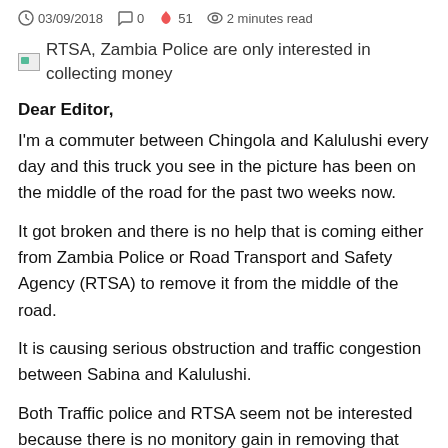03/09/2018   0   51   2 minutes read
[Figure (illustration): Broken image placeholder icon followed by article title text: RTSA, Zambia Police are only interested in collecting money]
Dear Editor,
I'm a commuter between Chingola and Kalulushi every day and this truck you see in the picture has been on the middle of the road for the past two weeks now.
It got broken and there is no help that is coming either from Zambia Police or Road Transport and Safety Agency (RTSA) to remove it from the middle of the road.
It is causing serious obstruction and traffic congestion between Sabina and Kalulushi.
Both Traffic police and RTSA seem not be interested because there is no monitory gain in removing that obstruction but if